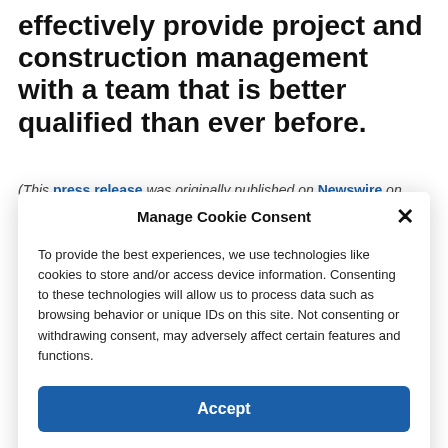effectively provide project and construction management with a team that is better qualified than ever before.
(This press release was originally published on Newswire on November 1, 2021)
Manage Cookie Consent
To provide the best experiences, we use technologies like cookies to store and/or access device information. Consenting to these technologies will allow us to process data such as browsing behavior or unique IDs on this site. Not consenting or withdrawing consent, may adversely affect certain features and functions.
Accept
Cookie Policy  Privacy Policy